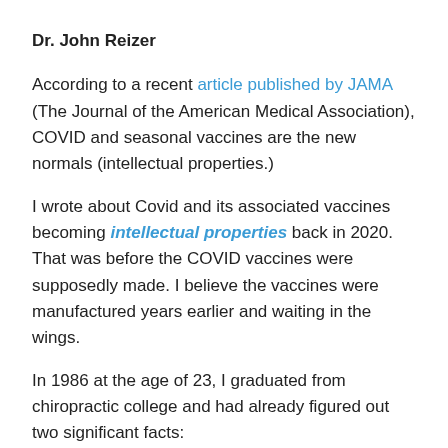Dr. John Reizer
According to a recent article published by JAMA (The Journal of the American Medical Association), COVID and seasonal vaccines are the new normals (intellectual properties.)
I wrote about Covid and its associated vaccines becoming intellectual properties back in 2020. That was before the COVID vaccines were supposedly made. I believe the vaccines were manufactured years earlier and waiting in the wings.
In 1986 at the age of 23, I graduated from chiropractic college and had already figured out two significant facts: